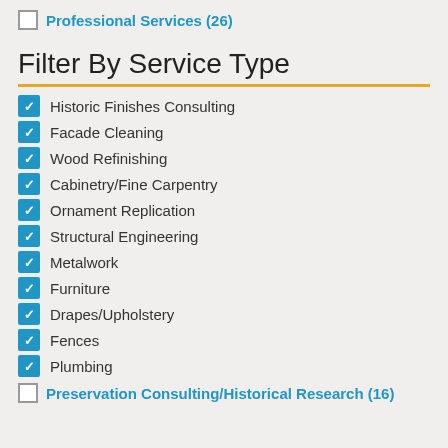Professional Services (26)
Filter By Service Type
Historic Finishes Consulting
Facade Cleaning
Wood Refinishing
Cabinetry/Fine Carpentry
Ornament Replication
Structural Engineering
Metalwork
Furniture
Drapes/Upholstery
Fences
Plumbing
Preservation Consulting/Historical Research (16)